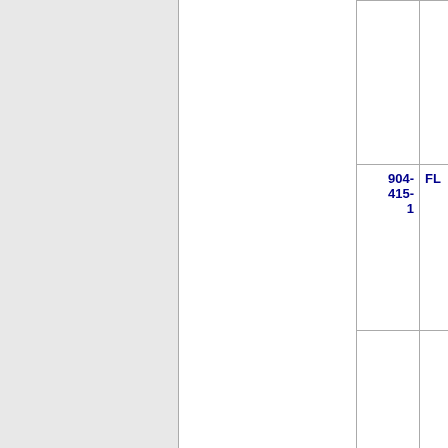| Number | State | Licensee | Code | City |
| --- | --- | --- | --- | --- |
| 904-415-1 | FL | POWERTEL JACKSONVILLE LICENSES (T-Mobile) | 7472 | FERN... |
| 904-415-2 | FL | POWERTEL JACKSONVILLE LICENSES (T-Mobile) | 7472 | FERN... |